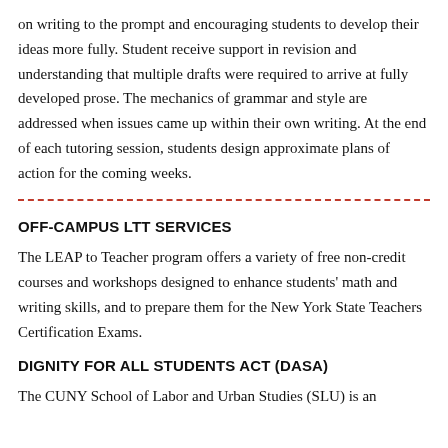on writing to the prompt and encouraging students to develop their ideas more fully. Student receive support in revision and understanding that multiple drafts were required to arrive at fully developed prose. The mechanics of grammar and style are addressed when issues came up within their own writing. At the end of each tutoring session, students design approximate plans of action for the coming weeks.
OFF-CAMPUS LTT SERVICES
The LEAP to Teacher program offers a variety of free non-credit courses and workshops designed to enhance students' math and writing skills, and to prepare them for the New York State Teachers Certification Exams.
DIGNITY FOR ALL STUDENTS ACT (DASA)
The CUNY School of Labor and Urban Studies (SLU) is an